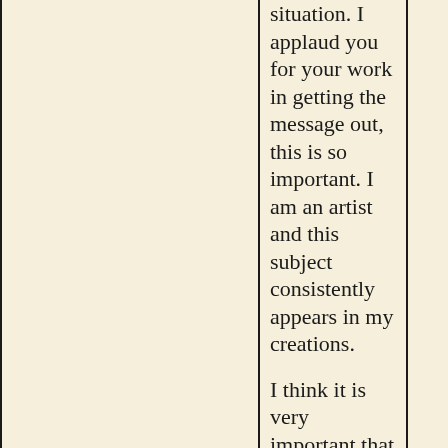situation. I applaud you for your work in getting the message out, this is so important. I am an artist and this subject consistently appears in my creations.

I think it is very important that you show the emotional